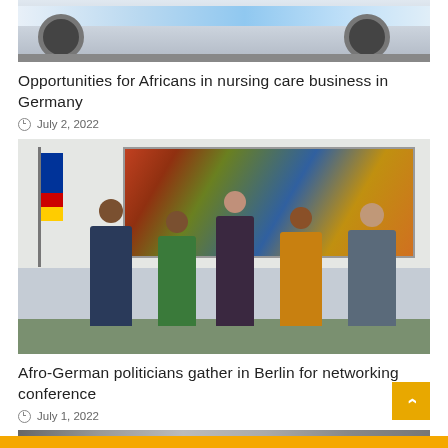[Figure (photo): Partial top photo showing front of a white/blue car, cropped at the top of the page]
Opportunities for Africans in nursing care business in Germany
July 2, 2022
[Figure (photo): Group photo of five people standing in front of a colorful painting, with EU and German flags to the left. People are dressed in business and traditional African attire.]
Afro-German politicians gather in Berlin for networking conference
July 1, 2022
[Figure (photo): Partial bottom strip of another photo, cropped at the bottom of the page]